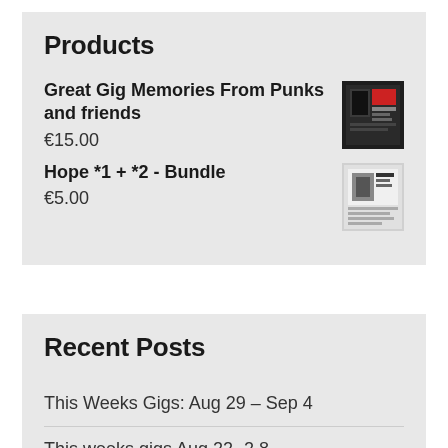Products
Great Gig Memories From Punks and friends
€15.00
Hope *1 + *2 - Bundle
€5.00
Recent Posts
This Weeks Gigs: Aug 29 – Sep 4
This weeks gigs Aug 22 -2 8